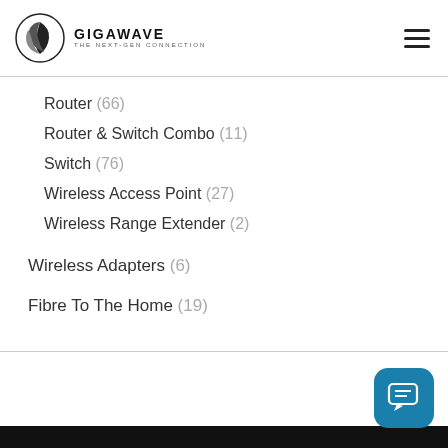[Figure (logo): Gigawave logo with circular wave graphic and text 'GIGAWAVE THE NEXT-GEN CONNECTION']
Router (66)
Router & Switch Combo (11)
Switch (76)
Wireless Access Point (27)
Wireless Range Extender (2)
Wireless Adapters (6)
Fibre To The Home (19)